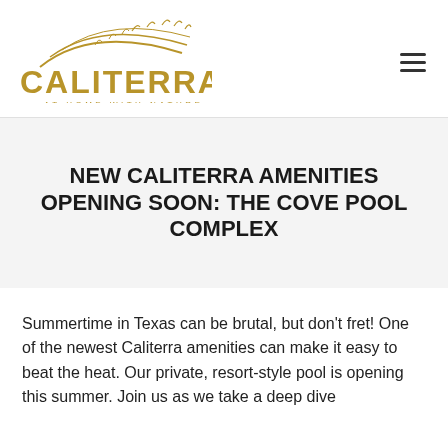[Figure (logo): Caliterra logo with golden wheat/grass design above the text CALITERRA and tagline AT HOME WITH NATURE]
NEW CALITERRA AMENITIES OPENING SOON: THE COVE POOL COMPLEX
Summertime in Texas can be brutal, but don't fret! One of the newest Caliterra amenities can make it easy to beat the heat. Our private, resort-style pool is opening this summer. Join us as we take a deep dive